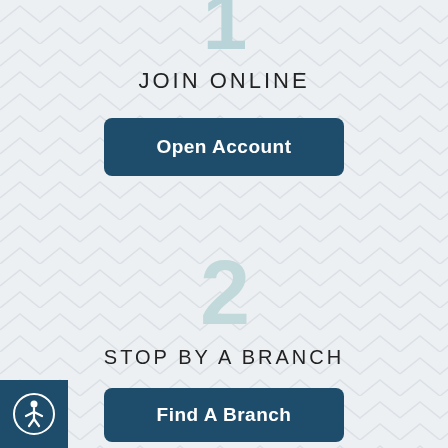1
JOIN ONLINE
Open Account
2
STOP BY A BRANCH
Find A Branch
[Figure (infographic): Accessibility icon (person in circle) in dark teal square at bottom-left corner]